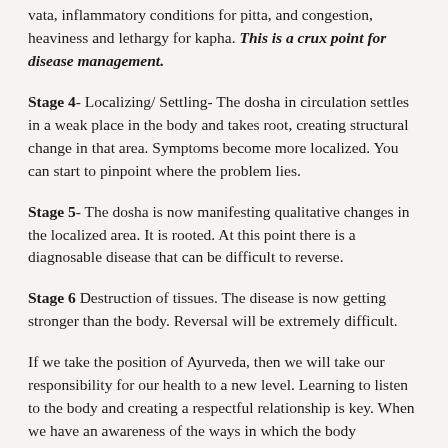vata, inflammatory conditions for pitta, and congestion, heaviness and lethargy for kapha. This is a crux point for disease management.
Stage 4- Localizing/ Settling- The dosha in circulation settles in a weak place in the body and takes root, creating structural change in that area. Symptoms become more localized. You can start to pinpoint where the problem lies.
Stage 5- The dosha is now manifesting qualitative changes in the localized area. It is rooted. At this point there is a diagnosable disease that can be difficult to reverse.
Stage 6 Destruction of tissues. The disease is now getting stronger than the body. Reversal will be extremely difficult.
If we take the position of Ayurveda, then we will take our responsibility for our health to a new level. Learning to listen to the body and creating a respectful relationship is key. When we have an awareness of the ways in which the body communicates imbalance, we can act quickly and take simple steps to restore balance and keep the doshas in their seats. Simple habits that lend themselves to daily regeneration and proper digestion become potent